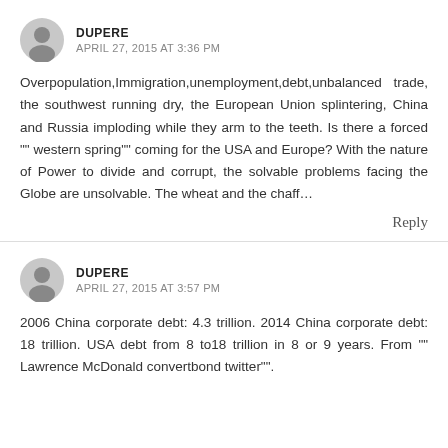DUPERE
APRIL 27, 2015 AT 3:36 PM
Overpopulation,Immigration,unemployment,debt,unbalanced trade, the southwest running dry, the European Union splintering, China and Russia imploding while they arm to the teeth. Is there a forced "" western spring"" coming for the USA and Europe? With the nature of Power to divide and corrupt, the solvable problems facing the Globe are unsolvable. The wheat and the chaff…
Reply
DUPERE
APRIL 27, 2015 AT 3:57 PM
2006 China corporate debt: 4.3 trillion. 2014 China corporate debt: 18 trillion. USA debt from 8 to18 trillion in 8 or 9 years. From "" Lawrence McDonald convertbond twitter"".